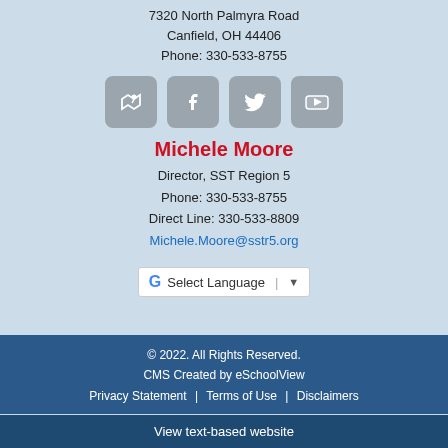7320 North Palmyra Road
Canfield, OH 44406
Phone: 330-533-8755
[Figure (infographic): Four social media icon buttons: map/location, Facebook, Twitter, YouTube]
Michele Moore
Director, SST Region 5
Phone: 330-533-8755
Direct Line: 330-533-8809
Michele.Moore@sstr5.org
[Figure (infographic): Google Translate language selector widget with G logo and dropdown arrow]
© 2022. All Rights Reserved.
CMS Created by eSchoolView
Privacy Statement | Terms of Use | Disclaimers
View text-based website